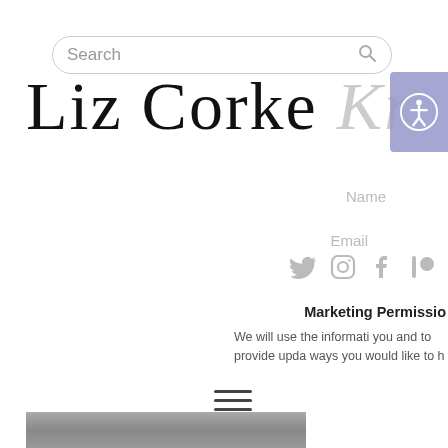[Figure (screenshot): Search bar with rounded border and search icon on right]
Liz Corke Knit
[Figure (logo): Accessibility icon button in purple/blue square]
Name
Email
[Figure (infographic): Social media icons: Twitter, Instagram, Facebook, Patreon]
Marketing Permissio
We will use the informati you and to provide upda ways you would like to h
Email
[Figure (infographic): Hamburger menu icon (three horizontal lines)]
Home » Hats » Claiseach
We will send you occ products and impor
[Figure (photo): Partial landscape/textile photo at the bottom of the page]